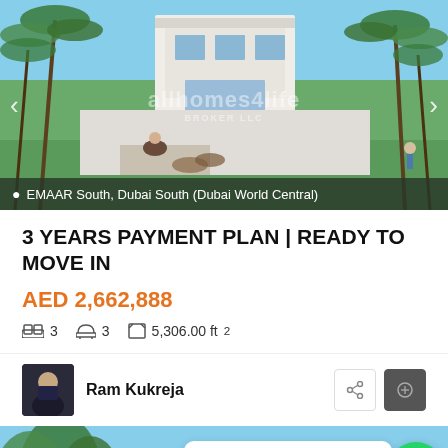[Figure (photo): Property exterior photo showing a modern villa with palm trees, green lawn, and outdoor seating area. Location label reads: EMAAR South, Dubai South (Dubai World Central). Navigation arrows on left and right. Watermark: allhomes4life.]
3 YEARS PAYMENT PLAN | READY TO MOVE IN
AED 2,662,888
3  3  5,306.00 ft²
Ram Kukreja
Need help? Get Immediate Info
[Figure (photo): Bottom partial photo showing trees and blue sky, with WhatsApp chat widget overlay and back-to-top arrow button.]